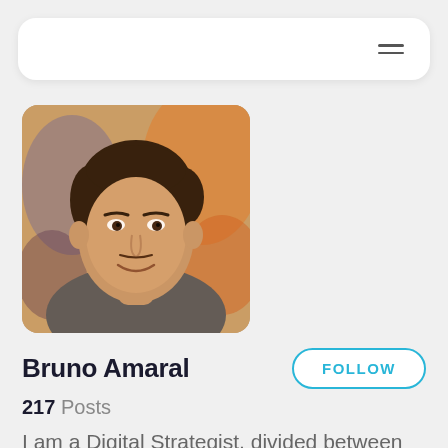Navigation bar with hamburger menu
[Figure (photo): Profile photo of Bruno Amaral, a man smiling, dark hair, wearing a grey t-shirt, photographed in an outdoor crowd setting with warm lighting.]
Bruno Amaral
FOLLOW
217 Posts
I am a Digital Strategist, divided between